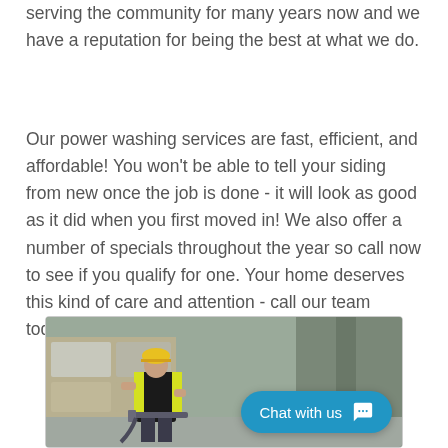serving the community for many years now and we have a reputation for being the best at what we do.
Our power washing services are fast, efficient, and affordable! You won't be able to tell your siding from new once the job is done - it will look as good as it did when you first moved in! We also offer a number of specials throughout the year so call now to see if you qualify for one. Your home deserves this kind of care and attention - call our team today!
[Figure (photo): Worker in yellow hard hat and high-visibility vest using power washing equipment at a job site with pallets and materials in background]